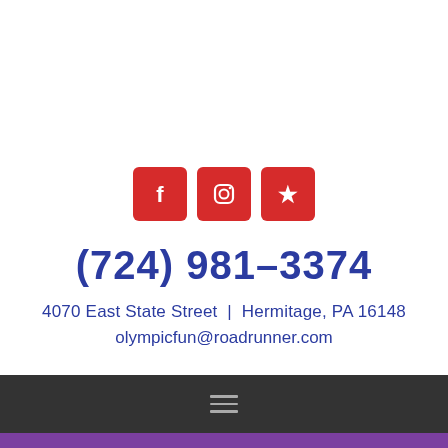[Figure (infographic): Three red rounded-square social media icons: Facebook, Instagram, and Yelp]
(724) 981-3374
4070 East State Street  |  Hermitage, PA 16148
olympicfun@roadrunner.com
[Figure (infographic): Dark gray footer bar with a hamburger menu icon (three horizontal lines) in white/gray]